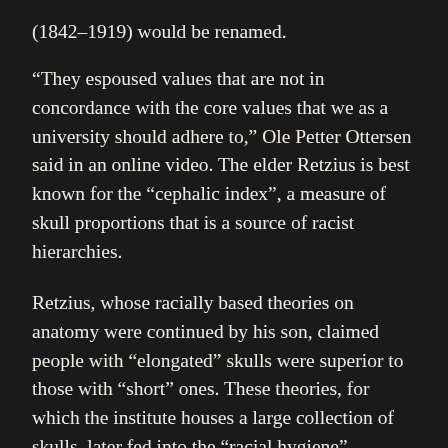(1842–1919) would be renamed.
“They espoused values that are not in concordance with the core values that we as a university should adhere to,” Ole Petter Ottersen said in an online video. The elder Retzius is best known for the “cephalic index”, a measure of skull proportions that is a source of racist hierarchies.
Retzius, whose racially based theories on anatomy were continued by his son, claimed people with “elongated” skulls were superior to those with “short” ones. These theories, for which the institute houses a large collection of skulls, later fed into the “racial hygiene” promoted by the Nazis.
The Karolinska Institute is also asking the city of Solna, near Stockholm, to rename “von Euler Street” to “Ulf von